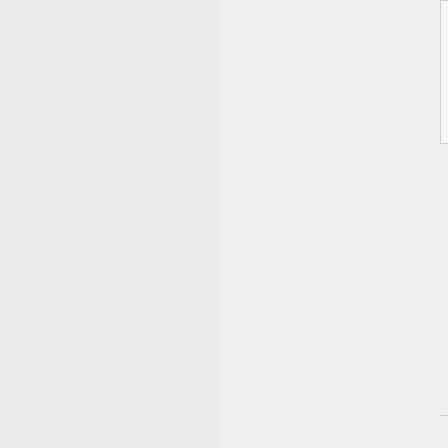classtype:web-application-attack; reference:cve,CVE-2007-0223; reference:url,www.secunia sid:2005677; rev:2;)
Added 2007-08-25 14:27:34 UTC
alert tcp $EXTERNAL_NET any -> $HTTP_SERVERS $HTTP_PORTS (msg:"BLEEDING-EDGE WEB Nicola Asuni All In One Control Panel (AIOCP) SQL